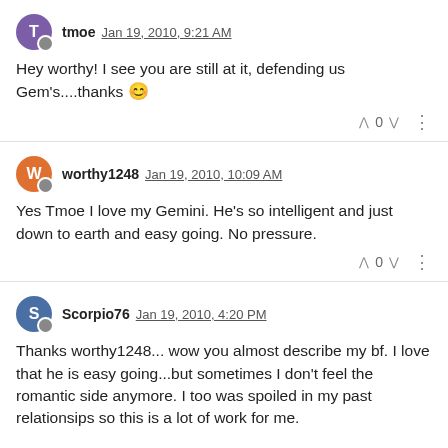tmoe Jan 19, 2010, 9:21 AM
Hey worthy! I see you are still at it, defending us Gem's....thanks 😊
worthy1248 Jan 19, 2010, 10:09 AM
Yes Tmoe I love my Gemini. He's so intelligent and just down to earth and easy going. No pressure.
Scorpio76 Jan 19, 2010, 4:20 PM
Thanks worthy1248... wow you almost describe my bf. I love that he is easy going...but sometimes I don't feel the romantic side anymore. I too was spoiled in my past relationsips so this is a lot of work for me.